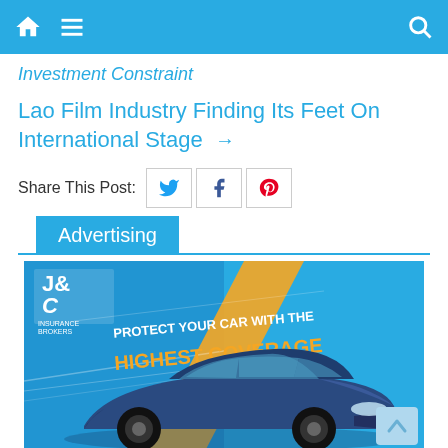Navigation bar with home, menu, and search icons
Investment Constraint
Lao Film Industry Finding Its Feet On International Stage →
Share This Post:
Advertising
[Figure (photo): J&C Insurance Brokers advertisement showing a blue Honda Accord sedan with text: PROTECT YOUR CAR WITH THE HIGHEST COVERAGE IN LAOS!]